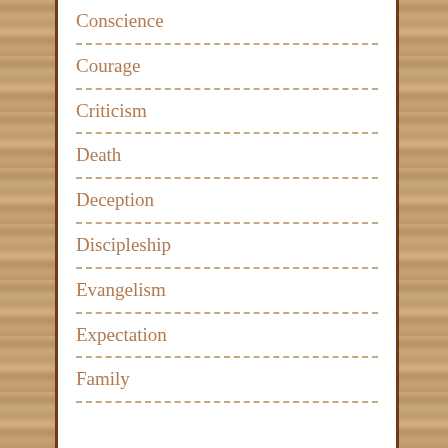Conscience
Courage
Criticism
Death
Deception
Discipleship
Evangelism
Expectation
Family